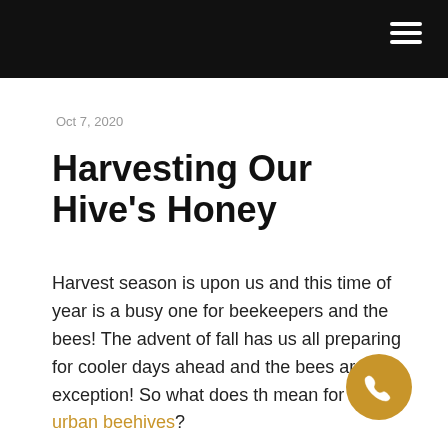≡
Oct 7, 2020
Harvesting Our Hive's Honey
Harvest season is upon us and this time of year is a busy one for beekeepers and the bees! The advent of fall has us all preparing for cooler days ahead and the bees are no exception! So what does th mean for our urban beehives?